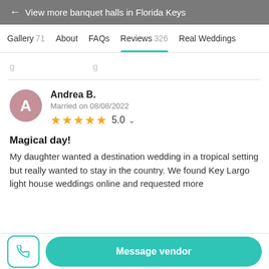← View more banquet halls in Florida Keys
Gallery 71   About   FAQs   Reviews 326   Real Weddings
g...ing...
Andrea B.
Married on 08/08/2022
★★★★★ 5.0
Magical day!
My daughter wanted a destination wedding in a tropical setting but really wanted to stay in the country. We found Key Largo light house weddings online and requested more
Message vendor